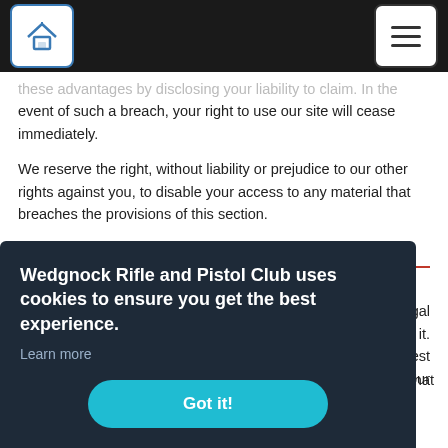[Navigation bar with home icon and menu icon]
...these advantages by disclosing your liability to claim. In the event of such a breach, your right to use our site will cease immediately.
We reserve the right, without liability or prejudice to our other rights against you, to disable your access to any material that breaches the provisions of this section.
Rules about linking to our site
You may link to any page on our site that is publicly ...d legal ...e of it. ...gest ...our ...e that is not owned by you.
Wedgnock Rifle and Pistol Club uses cookies to ensure you get the best experience.
Learn more
Got it!